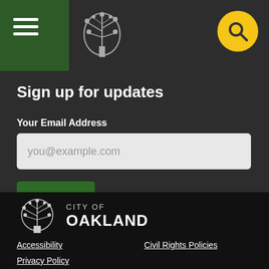[Figure (logo): City of Oakland tree logo in header navigation bar]
[Figure (logo): Yellow circular search button with magnifying glass icon]
Sign up for updates
Your Email Address
you@example.com
Sign Up
[Figure (logo): City of Oakland tree logo in footer]
CITY OF OAKLAND
Accessibility
Civil Rights Policies
Privacy Policy